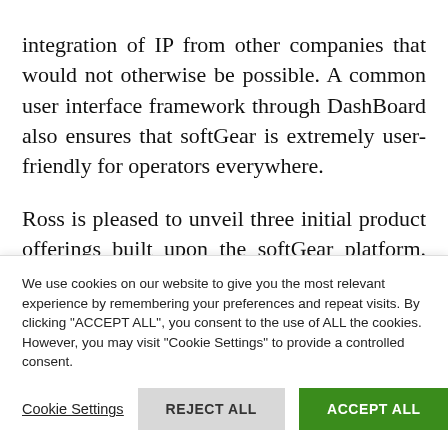integration of IP from other companies that would not otherwise be possible. A common user interface framework through DashBoard also ensures that softGear is extremely user-friendly for operators everywhere.
Ross is pleased to unveil three initial product offerings built upon the softGear platform. First is the Nielsen Watermarking Encoder for IP (NWE-IP), which allows watermarking for audience
We use cookies on our website to give you the most relevant experience by remembering your preferences and repeat visits. By clicking "ACCEPT ALL", you consent to the use of ALL the cookies. However, you may visit "Cookie Settings" to provide a controlled consent.
Cookie Settings | REJECT ALL | ACCEPT ALL